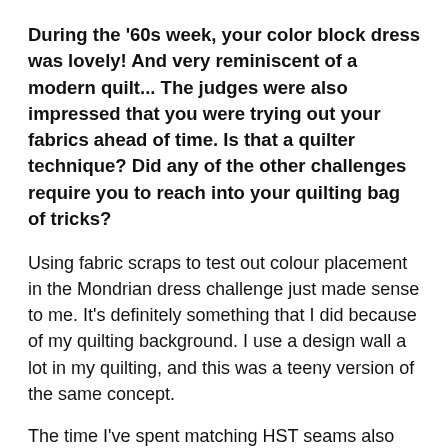During the '60s week, your color block dress was lovely! And very reminiscent of a modern quilt... The judges were also impressed that you were trying out your fabrics ahead of time. Is that a quilter technique? Did any of the other challenges require you to reach into your quilting bag of tricks?
Using fabric scraps to test out colour placement in the Mondrian dress challenge just made sense to me. It's definitely something that I did because of my quilting background. I use a design wall a lot in my quilting, and this was a teeny version of the same concept.
The time I've spent matching HST seams also stood me in good stead in the chevron top challenge in the first week!
Is your garment design style similar to your quilt